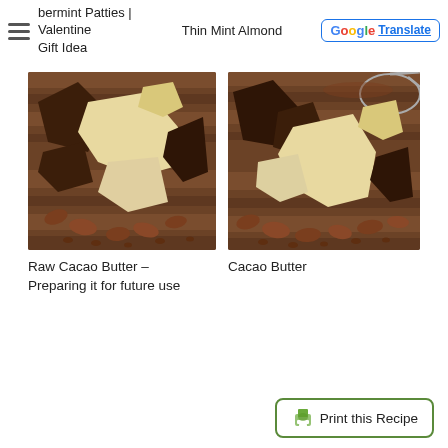bermint Patties | Valentine Gift Idea   Thin Mint Almond   Translate
[Figure (photo): Raw cacao butter chunks with cocoa beans on a wooden surface]
[Figure (photo): Cacao butter chunks with cocoa beans on a wooden surface, with a strainer visible in the background]
Raw Cacao Butter – Preparing it for future use
Cacao Butter
Print this Recipe